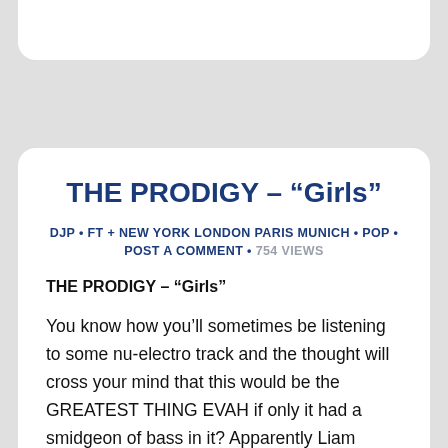THE PRODIGY – “Girls”
DJP • FT + NEW YORK LONDON PARIS MUNICH • POP • POST A COMMENT • 754 VIEWS
THE PRODIGY – “Girls”
You know how you’ll sometimes be listening to some nu-electro track and the thought will cross your mind that this would be the GREATEST THING EVAH if only it had a smidgeon of bass in it? Apparently Liam Howlett’s been thinking the same thing; this bouncy little number is the strongest thing he’s put out since